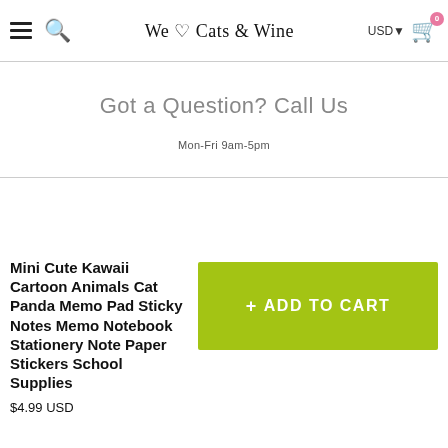We ♡ Cats & Wine — USD — Cart (0)
Got a Question? Call Us
Mon-Fri 9am-5pm
Mini Cute Kawaii Cartoon Animals Cat Panda Memo Pad Sticky Notes Memo Notebook Stationery Note Paper Stickers School Supplies
$4.99 USD